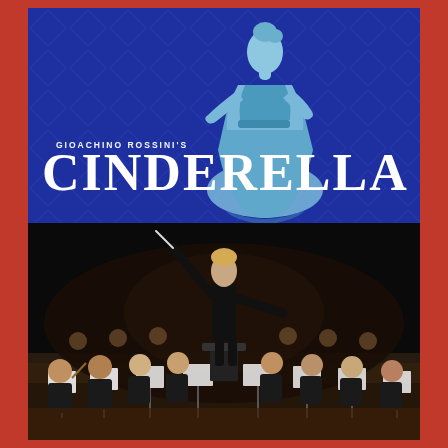[Figure (illustration): Gioachino Rossini's Cinderella opera poster: deep blue background with decorative diamond pattern, a light blue silhouette of a woman in a ball gown in the center, text 'GIOACHINO ROSSINI'S' in small caps above large white serif text 'CINDERELLA' with the silhouette overlapping the letters.]
[Figure (photo): A photograph of a female conductor in black formal attire, arms outstretched holding a baton, conducting a full orchestra on stage in a darkened concert hall. Musicians with string instruments and music stands are visible in the foreground and background.]